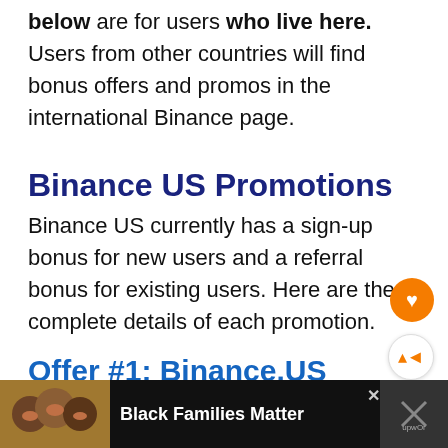below are for users who live here. Users from other countries will find bonus offers and promos in the international Binance page.
Binance US Promotions
Binance US currently has a sign-up bonus for new users and a referral bonus for existing users. Here are the complete details of each promotion.
Offer #1: Binance.US $10 Sign-up Bonus
[Figure (other): Advertisement banner at the bottom: shows a family photo on the left, 'Black Families Matter' text in the center, close button, and an X button on the right.]